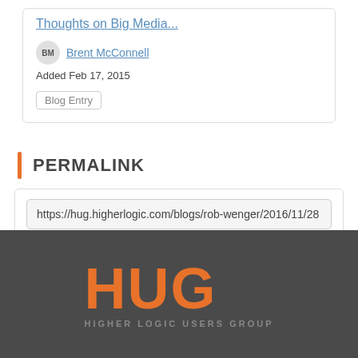Thoughts on Big Media...
BM Brent McConnell
Added Feb 17, 2015
Blog Entry
PERMALINK
https://hug.higherlogic.com/blogs/rob-wenger/2016/11/28
[Figure (logo): HUG - Higher Logic Users Group logo in orange text on dark grey background]